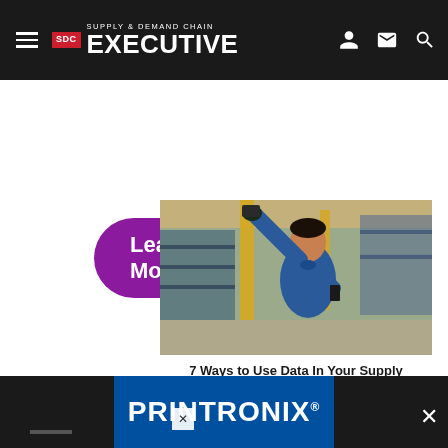SDC Supply & Demand Chain Executive
Learn More
[Figure (photo): Advertisement: Warehouse worker in blue shirt scanning inventory with handheld device, raising arm. Background shows warehouse shelving. Headline: '7 Ways to Use Data In Your Supply Chain to Improve Operational Intelligence'. Logos: Honeywell | IntelliTrack. Read Now button.]
[Figure (logo): PRINTRONIX advertisement banner at bottom of page]